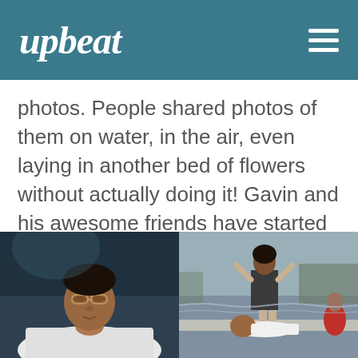upbeat
photos. People shared photos of them on water, in the air, even laying in another bed of flowers without actually doing it! Gavin and his awesome friends have started a revolution.
[Figure (photo): Left photo: A young man in a white shirt looking upward against a dark teal/black background, lying down or leaning back.]
[Figure (photo): Right photo: A person in a dark dress standing near a fountain or water feature outdoors, with another person lying on the ground below them.]